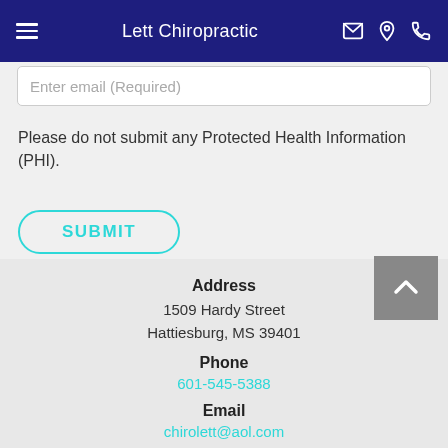Lett Chiropractic
Enter email (Required)
Please do not submit any Protected Health Information (PHI).
SUBMIT
Address
1509 Hardy Street
Hattiesburg, MS 39401
Phone
601-545-5388
Email
chirolett@aol.com